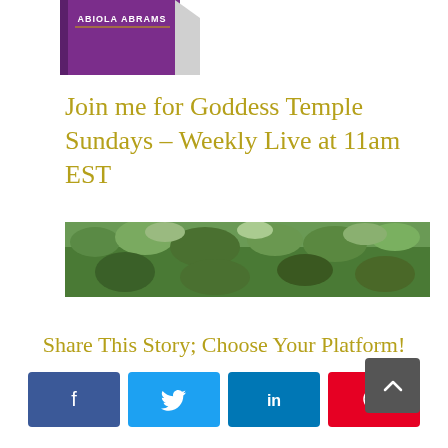[Figure (photo): Partial view of a book cover showing 'ABIOLA ABRAMS' text on a purple spine]
Join me for Goddess Temple Sundays – Weekly Live at 11am EST
[Figure (photo): A wide banner photo of green foliage and trees]
Share This Story; Choose Your Platform!
[Figure (infographic): Row of social share buttons: Facebook (blue), Twitter (light blue), LinkedIn (dark blue), Pinterest (red), with a scroll-to-top button (dark gray)]